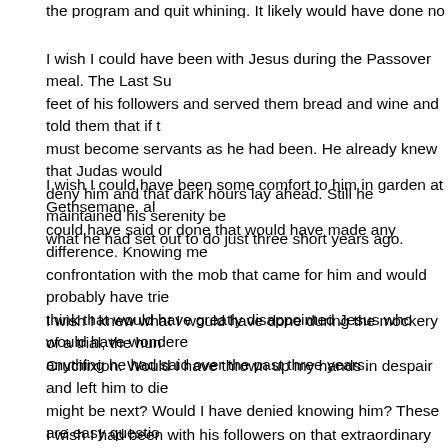the program and quit whining. It likely would have done no good. The ma
I wish I could have been with Jesus during the Passover meal. The Last Su feet of his followers and served them bread and wine and told them that if t must become servants as he had been. He already knew that Judas would deny him and that dark hours lay ahead. Still he maintained his serenity be what he had set out to do just three short years ago.
I wish I could have been some comfort to him in garden at Gethsemane, al could have said or done that would have made any difference. Knowing me confrontation with the mob that came for him and would probably have trie think that would have greatly disappointed Jesus who would have wondere anything he had said over the past three years.
I wish I knew what I would have done during the mockery of a trial, the hun Crucifixion. Would I have thrown up my hands in despair and left him to die might be next? Would I have denied knowing him? These are easy questio I suspect I would have been scared then. Very scared.
I wish I had been with his followers on that extraordinary morning three day the tomb. What had been total despair was now unspeakable joy. The tomb
Yes, I wish I had been in Jerusalem that extraordinary week and I wish you After what we saw, maybe we could remember that Easter isn't about dye